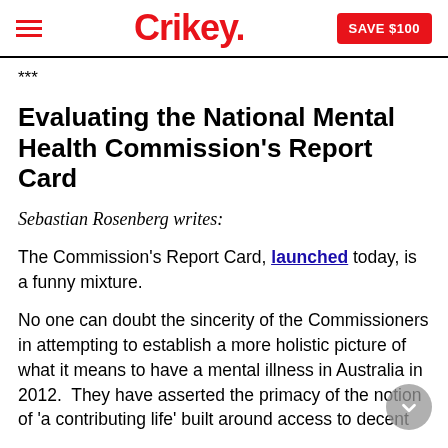Crikey. SAVE $100
***
Evaluating the National Mental Health Commission's Report Card
Sebastian Rosenberg writes:
The Commission's Report Card, launched today, is a funny mixture.
No one can doubt the sincerity of the Commissioners in attempting to establish a more holistic picture of what it means to have a mental illness in Australia in 2012.  They have asserted the primacy of the notion of 'a contributing life' built around access to decent